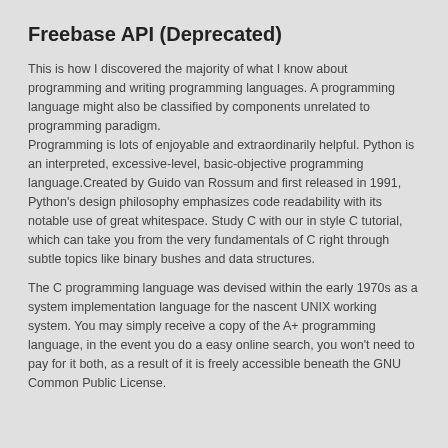Freebase API (Deprecated)
This is how I discovered the majority of what I know about programming and writing programming languages. A programming language might also be classified by components unrelated to programming paradigm.
Programming is lots of enjoyable and extraordinarily helpful. Python is an interpreted, excessive-level, basic-objective programming language.Created by Guido van Rossum and first released in 1991, Python's design philosophy emphasizes code readability with its notable use of great whitespace. Study C with our in style C tutorial, which can take you from the very fundamentals of C right through subtle topics like binary bushes and data structures.
The C programming language was devised within the early 1970s as a system implementation language for the nascent UNIX working system. You may simply receive a copy of the A+ programming language, in the event you do a easy online search, you won't need to pay for it both, as a result of it is freely accessible beneath the GNU Common Public License.